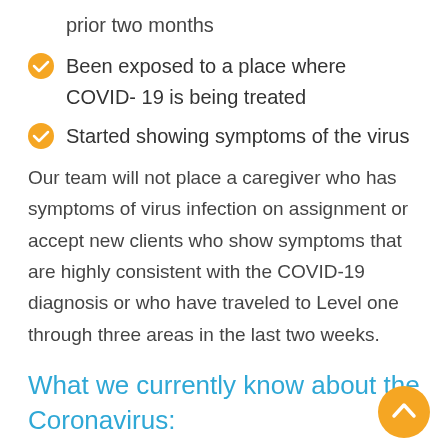prior two months
Been exposed to a place where COVID- 19 is being treated
Started showing symptoms of the virus
Our team will not place a caregiver who has symptoms of virus infection on assignment or accept new clients who show symptoms that are highly consistent with the COVID-19 diagnosis or who have traveled to Level one through three areas in the last two weeks.
What we currently know about the Coronavirus: